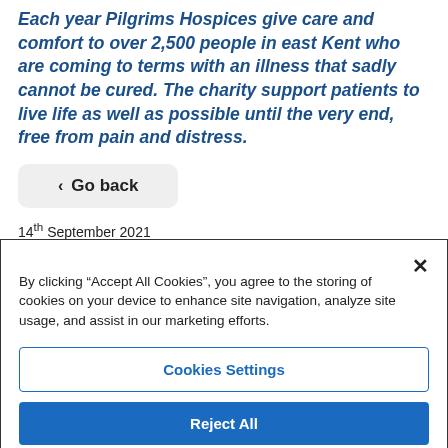Each year Pilgrims Hospices give care and comfort to over 2,500 people in east Kent who are coming to terms with an illness that sadly cannot be cured. The charity support patients to live life as well as possible until the very end, free from pain and distress.
< Go back
14th September 2021
By clicking “Accept All Cookies”, you agree to the storing of cookies on your device to enhance site navigation, analyze site usage, and assist in our marketing efforts.
Cookies Settings
Reject All
Accept All Cookies